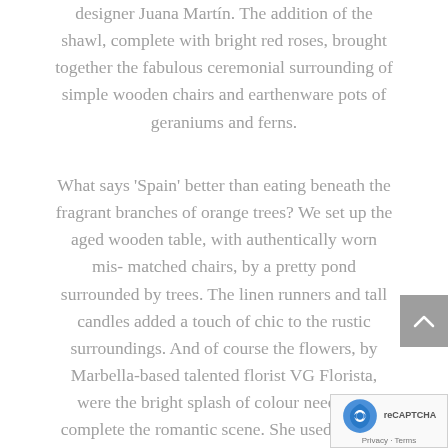designer Juana Martín. The addition of the shawl, complete with bright red roses, brought together the fabulous ceremonial surrounding of simple wooden chairs and earthenware pots of geraniums and ferns.
What says 'Spain' better than eating beneath the fragrant branches of orange trees? We set up the aged wooden table, with authentically worn mis-matched chairs, by a pretty pond surrounded by trees. The linen runners and tall candles added a touch of chic to the rustic surroundings. And of course the flowers, by Marbella-based talented florist VG Florista, were the bright splash of colour needed to complete the romantic scene. She used an eye-catching mix of red, pink and cerise carnations and bougainvillea mixed with roses, eucalyptus and grasses to bring a feeling of the